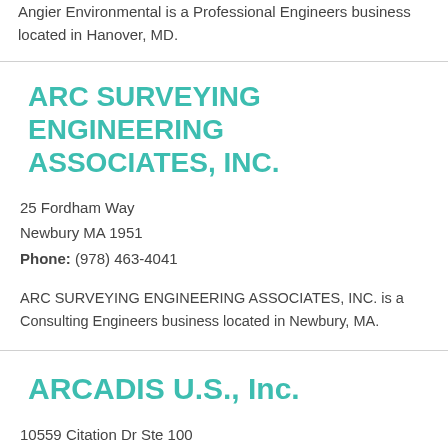Angier Environmental is a Professional Engineers business located in Hanover, MD.
ARC SURVEYING ENGINEERING ASSOCIATES, INC.
25 Fordham Way
Newbury MA 1951
Phone: (978) 463-4041
ARC SURVEYING ENGINEERING ASSOCIATES, INC. is a Consulting Engineers business located in Newbury, MA.
ARCADIS U.S., Inc.
10559 Citation Dr Ste 100
Brighton, MI 48116